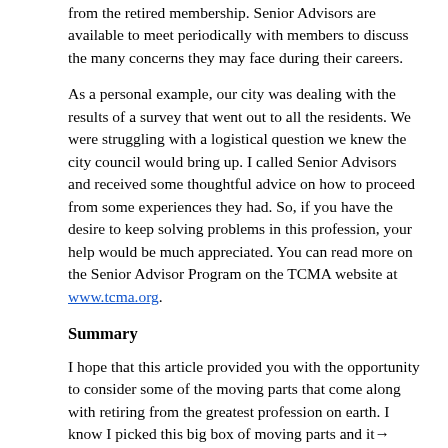from the retired membership. Senior Advisors are available to meet periodically with members to discuss the many concerns they may face during their careers.
As a personal example, our city was dealing with the results of a survey that went out to all the residents. We were struggling with a logistical question we knew the city council would bring up. I called Senior Advisors and received some thoughtful advice on how to proceed from some experiences they had. So, if you have the desire to keep solving problems in this profession, your help would be much appreciated. You can read more on the Senior Advisor Program on the TCMA website at www.tcma.org.
Summary
I hope that this article provided you with the opportunity to consider some of the moving parts that come along with retiring from the greatest profession on earth. I know I picked this big box of moving parts and it...